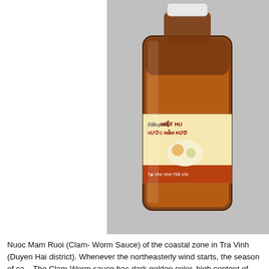[Figure (photo): A bottle of Viet Hu Nuoc Mam Ruoi (Clam-Worm Fish Sauce) with a label showing Vietnamese text and an illustration of seafood/worms. The bottle contains dark golden/amber colored sauce and has a white cap. The background is light grey.]
Nuoc Mam Ruoi (Clam- Worm Sauce) of the coastal zone in Tra Vinh (Duyen Hai district). Whenever the northeasterly wind starts, the season of ca... The Clam-Worm sauce has dark golden color, high content of protein... here, Lord Nguyen Anh was offered this special fish sauce and the Lo... Clam worm sauce has also possessed a beautiful name "Royal Fish S...